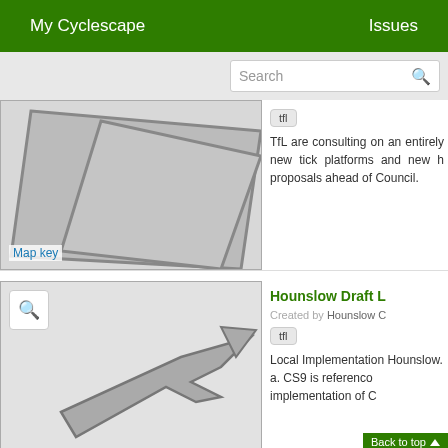My Cyclescape    Issues
[Figure (screenshot): Search bar with placeholder text 'Search' and magnifying glass icon]
[Figure (map): Map thumbnail showing a grey polygon shape on a light grey background with 'Map key' label]
tfl
TfL are consulting on an entirely new tick platforms and new h proposals ahead of Council.
Hounslow Draft L
Created by Hounslow C
tfl
[Figure (map): Map thumbnail with search icon button and an arrow/route indicator on a light grey background]
Local Implementation Hounslow.
a. CS9 is reference implementation of C
Back to top